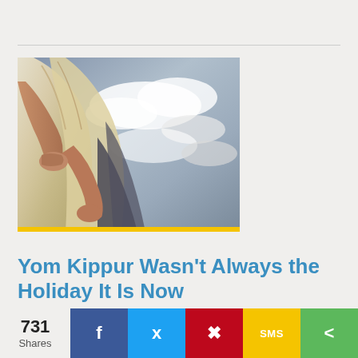[Figure (photo): Person holding a tallit (Jewish prayer shawl) against a dramatic cloudy sky background]
Yom Kippur Wasn't Always the Holiday It Is Now
By Rabbi Stephen Lewis Fuchs
As the summer passes its midway point, rabbis
731 Shares